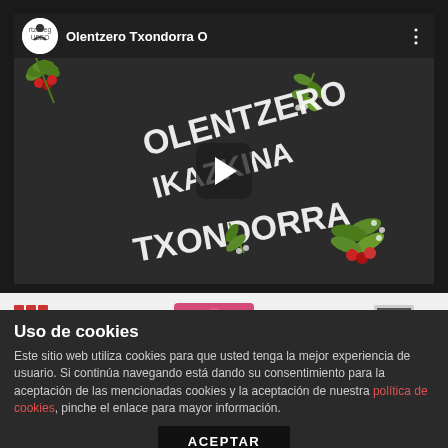[Figure (screenshot): YouTube-style video player showing 'Olentzero Txondorra' video thumbnail. Dark background with decorative holiday plant illustrations and stylized text reading 'OLENTZERO IKAZKINA TXONDORRA'. A play button is centered. The video bar shows a circular channel logo labeled 'rtzinieg USEO' and the title 'Olentzero Txondorra O' with three-dot menu on the right.]
[Figure (screenshot): Partial view of a white website content area with small colored icons/logos visible - a red/pink dotted icon on left, a pink/red circular button in center, and a small illustration on right.]
Uso de cookies
Este sitio web utiliza cookies para que usted tenga la mejor experiencia de usuario. Si continúa navegando está dando su consentimiento para la aceptación de las mencionadas cookies y la aceptación de nuestra política de cookies, pinche el enlace para mayor información.
ACEPTAR